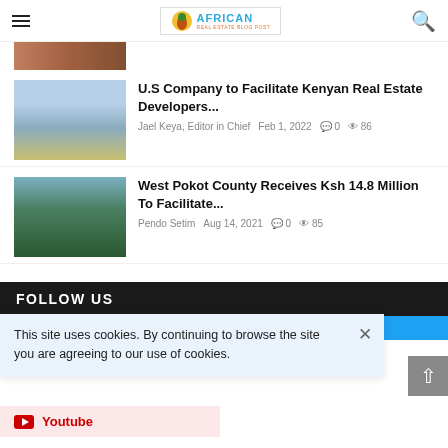African Real Estate Blog Post
[Figure (photo): Partial view of a photo at the top of the page (cut off)]
U.S Company to Facilitate Kenyan Real Estate Developers...
Jael Keya, Editor in Chief   Feb 1, 2022   0   86
[Figure (photo): Photo of a mountain/forest landscape with green hills]
West Pokot County Receives Ksh 14.8 Million To Facilitate...
Pendo Setim   Aug 14, 2021   0   85
FOLLOW US
This site uses cookies. By continuing to browse the site you are agreeing to our use of cookies.